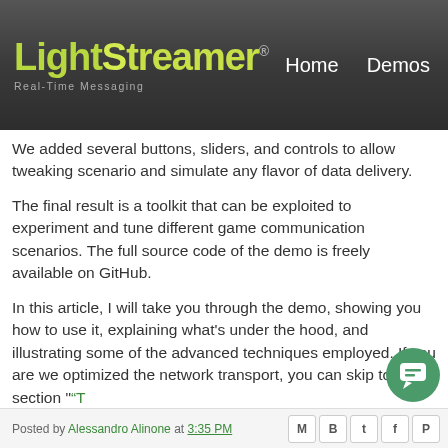LightStreamer Real-Time Messaging — Home | Demos
We added several buttons, sliders, and controls to allow tweaking scenario and simulate any flavor of data delivery.
The final result is a toolkit that can be exploited to experiment and tune different game communication scenarios. The full source code of the demo is freely available on GitHub.
[Figure (screenshot): Partial screenshot of a 3D game demo with red diamond shape on black background, labeled '3D']
In this article, I will take you through the demo, showing you how to use it, explaining what's under the hood, and illustrating some of the advanced techniques employed. If you are we optimized the network transport, you can skip to the section "T the Real-Time Web Stack" below.
Read more »
Posted by Alessandro Alinone at 3:35 PM